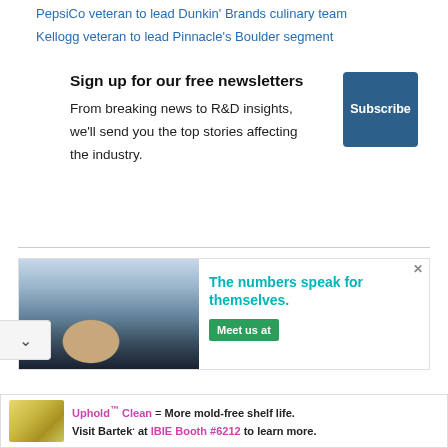PepsiCo veteran to lead Dunkin' Brands culinary team
Kellogg veteran to lead Pinnacle's Boulder segment
Sign up for our free newsletters
From breaking news to R&D insights, we'll send you the top stories affecting the industry.
[Figure (other): Subscribe button - dark blue square button with text 'Subscribe']
[Figure (photo): Advertisement showing a man in glasses working at an industrial machine with text 'The numbers speak for themselves.' and a green 'Meet us at' button]
[Figure (other): Bottom banner ad for Bartek featuring bread/food product image with text: Uphold Clean = More mold-free shelf life. Visit Bartek. at IBIE Booth #6212 to learn more.]